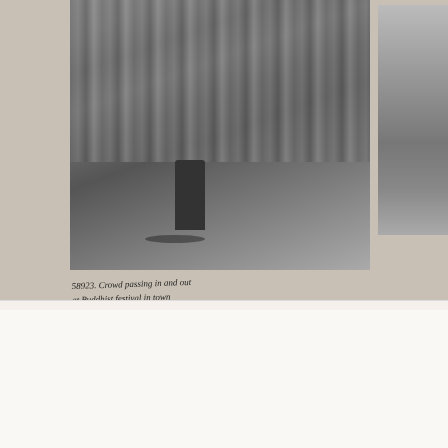[Figure (photo): Black and white photograph showing a crowd passing in and out at a Buddhist festival in a town near Nagoya, Japan. A figure stands in the foreground; handwritten caption below reads '58923. Crowd passing in and out at Buddhist festival in town near Nagoya, Japan'. A partial second photograph is visible on the right edge showing a building.]
58923 Crowd passing in and out at Buddhist festival in town near Nagoya, Japan